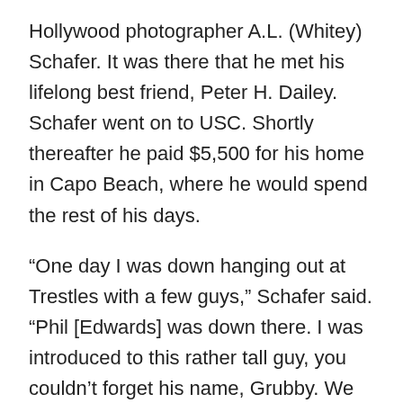Hollywood photographer A.L. (Whitey) Schafer. It was there that he met his lifelong best friend, Peter H. Dailey. Schafer went on to USC. Shortly thereafter he paid $5,500 for his home in Capo Beach, where he would spend the rest of his days.
“One day I was down hanging out at Trestles with a few guys,” Schafer said. “Phil [Edwards] was down there. I was introduced to this rather tall guy, you couldn’t forget his name, Grubby. We got acquainted on the beach. He seemed like a pretty fun guy. He was down at Hobie’s a lot glassing boards. He had this yellow truck with a camper on the back that he